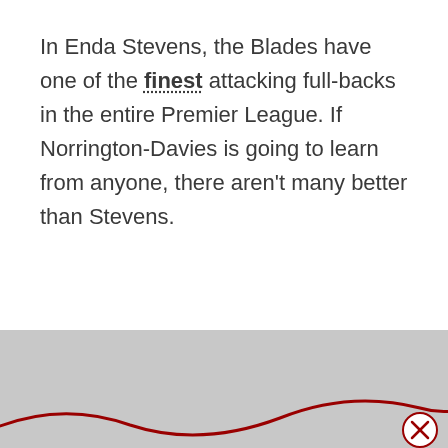In Enda Stevens, the Blades have one of the finest attacking full-backs in the entire Premier League. If Norrington-Davies is going to learn from anyone, there aren't many better than Stevens.
[Figure (illustration): Gray background section with a red wavy decorative line at the bottom and a close button (circle with X) in the bottom right corner.]